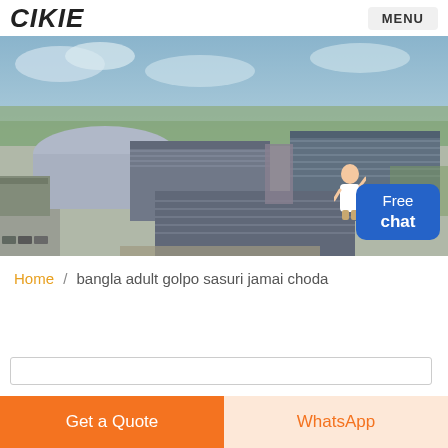CIKIE   MENU
[Figure (photo): Aerial drone photo of large industrial warehouse/factory complex with steel blue roofs, surrounded by roads and green fields under a partly cloudy sky. A 'Free chat' badge with an avatar appears in the lower right corner.]
Home / bangla adult golpo sasuri jamai choda
Get a Quote   WhatsApp